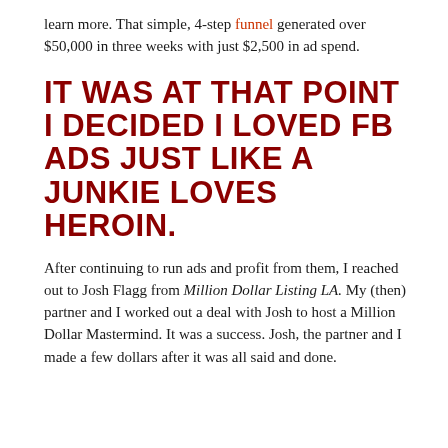learn more. That simple, 4-step funnel generated over $50,000 in three weeks with just $2,500 in ad spend.
IT WAS AT THAT POINT I DECIDED I LOVED FB ADS JUST LIKE A JUNKIE LOVES HEROIN.
After continuing to run ads and profit from them, I reached out to Josh Flagg from Million Dollar Listing LA. My (then) partner and I worked out a deal with Josh to host a Million Dollar Mastermind. It was a success. Josh, the partner and I made a few dollars after it was all said and done.